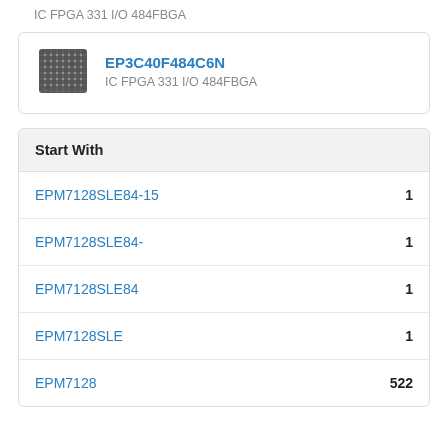IC FPGA 331 I/O 484FBGA
EP3C40F484C6N
IC FPGA 331 I/O 484FBGA
Start With
EPM7128SLE84-15   1
EPM7128SLE84-   1
EPM7128SLE84   1
EPM7128SLE   1
EPM7128   522